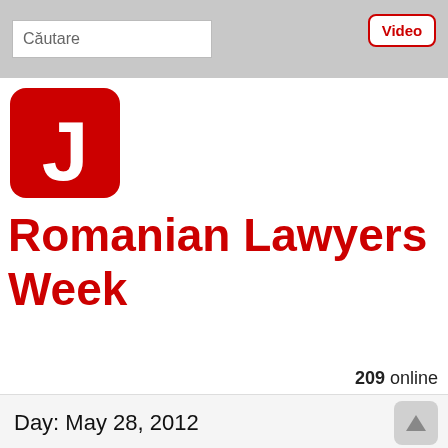Căutare   Video
[Figure (logo): Red rounded square with white letter J — Romanian Lawyers Week website logo]
Romanian Lawyers Week
209 online
Day: May 28, 2012